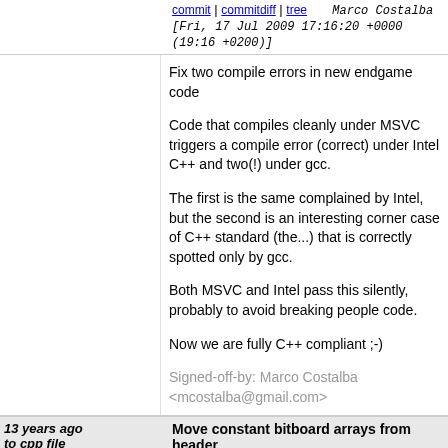commit | commitdiff | tree   Marco Costalba [Fri, 17 Jul 2009 17:16:20 +0000 (19:16 +0200)]
Fix two compile errors in new endgame code

Code that compiles cleanly under MSVC triggers a compile error (correct) under Intel C++ and two(!) under gcc.

The first is the same complained by Intel, but the second is an interesting corner case of C++ standard (the...) that is correctly spotted only by gcc.

Both MSVC and Intel pass this silently, probably to avoid breaking people code.

Now we are fully C++ compliant ;-)

Signed-off-by: Marco Costalba <mcostalba@gmail.com>
13 years ago  Move constant bitboard arrays from header to cpp file
commit | commitdiff | tree   Marco Costalba [Fri, 17 Jul 2009 15:18:33 +0000 (16:18 +0100)]
Move constant bitboard arrays from header to cpp file

This avoid to duplicate storage allocation for every... where they are used.